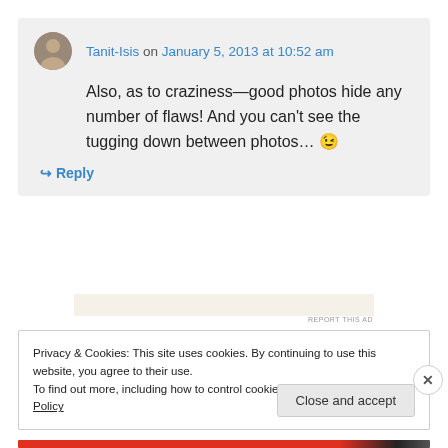Tanit-Isis on January 5, 2013 at 10:52 am
Also, as to craziness—good photos hide any number of flaws! And you can't see the tugging down between photos... 😉
↪ Reply
[Figure (other): Ad bar placeholder]
REPORT THIS AD
Privacy & Cookies: This site uses cookies. By continuing to use this website, you agree to their use.
To find out more, including how to control cookies, see here: Cookie Policy
Close and accept